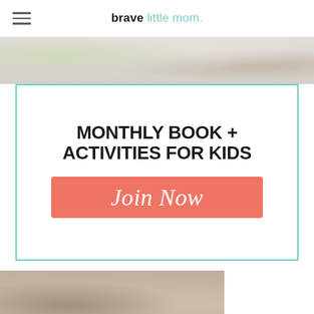brave little mom.
[Figure (photo): Top strip of a flat-lay photo showing crafts/toys on a white fluffy rug]
[Figure (infographic): Promotional box with teal border: 'MONTHLY BOOK + ACTIVITIES FOR KIDS' with a coral/salmon Join Now button]
[Figure (photo): Bottom partial photo showing women's heels/shoes]